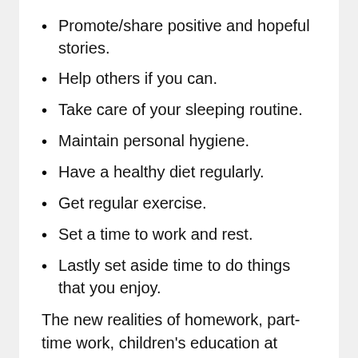Promote/share positive and hopeful stories.
Help others if you can.
Take care of your sleeping routine.
Maintain personal hygiene.
Have a healthy diet regularly.
Get regular exercise.
Set a time to work and rest.
Lastly set aside time to do things that you enjoy.
The new realities of homework, part-time work, children's education at home, and the lack of physical contact with other family members, friends and colleagues take time to get used to.